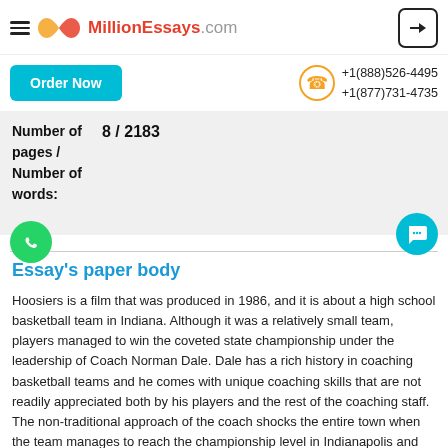MillionEssays.com
Order Now  +1(888)526-4495  +1(877)731-4735
Number of pages / Number of words:  8 / 2183
Essay's paper body
Hoosiers is a film that was produced in 1986, and it is about a high school basketball team in Indiana. Although it was a relatively small team, players managed to win the coveted state championship under the leadership of Coach Norman Dale. Dale has a rich history in coaching basketball teams and he comes with unique coaching skills that are not readily appreciated both by his players and the rest of the coaching staff. The non-traditional approach of the coach shocks the entire town when the team manages to reach the championship level in Indianapolis and win while playing against